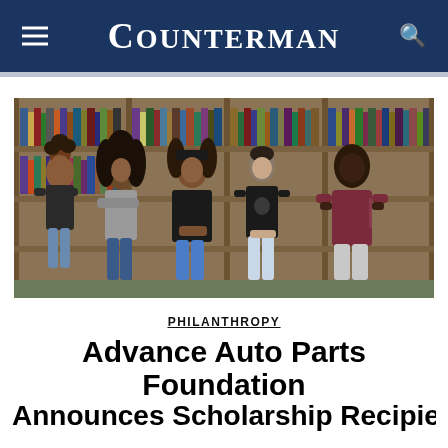Counterman
[Figure (photo): Five young students standing in front of a library bookshelf. From left to right: a young woman with curly hair wearing a dark top and jeans; a young man with long curly hair, crossed arms, gray shirt and ripped jeans; a young man with a bandana, dark hoodie, standing in the center; a young man in a black graphic t-shirt and light jeans; a young man in a maroon Adidas hoodie and gray shorts.]
PHILANTHROPY
Advance Auto Parts Foundation Announces Scholarship Recipients